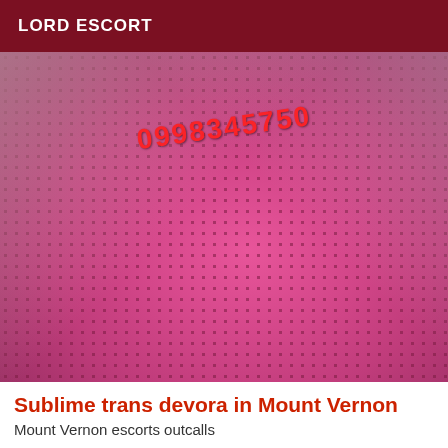LORD ESCORT
[Figure (photo): Photo of a person wearing a pink mesh/fishnet dress with black accents, standing in a room with decorative pillows and a wooden floor. A red watermark phone number is overlaid on the image.]
Sublime trans devora in Mount Vernon
Mount Vernon escorts outcalls